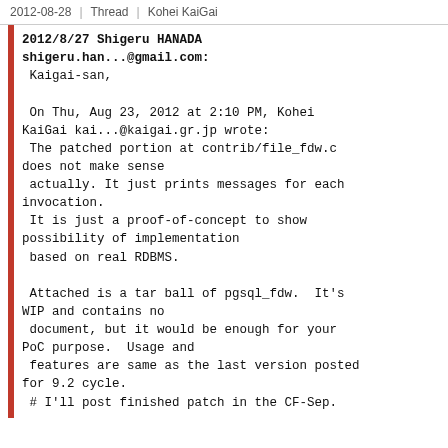2012-08-28  |  Thread  |  Kohei KaiGai
2012/8/27 Shigeru HANADA
shigeru.han...@gmail.com:
 Kaigai-san,

 On Thu, Aug 23, 2012 at 2:10 PM, Kohei
KaiGai kai...@kaigai.gr.jp wrote:
 The patched portion at contrib/file_fdw.c
does not make sense
 actually. It just prints messages for each
invocation.
 It is just a proof-of-concept to show
possibility of implementation
 based on real RDBMS.

 Attached is a tar ball of pgsql_fdw.  It's
WIP and contains no
 document, but it would be enough for your
PoC purpose.  Usage and
 features are same as the last version posted
for 9.2 cycle.
 # I'll post finished patch in the CF-Sep.